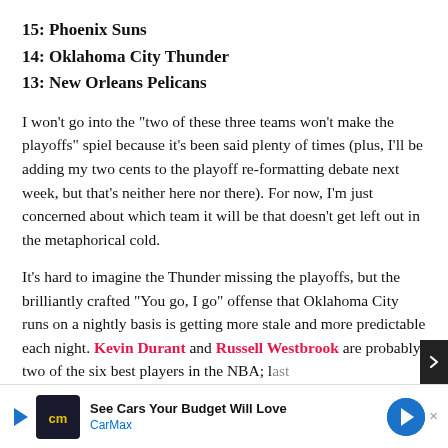15: Phoenix Suns
14: Oklahoma City Thunder
13: New Orleans Pelicans
I won't go into the “two of these three teams won’t make the playoffs” spiel because it’s been said plenty of times (plus, I’ll be adding my two cents to the playoff re-formatting debate next week, but that’s neither here nor there). For now, I’m just concerned about which team it will be that doesn’t get left out in the metaphorical cold.
It’s hard to imagine the Thunder missing the playoffs, but the brilliantly crafted “You go, I go” offense that Oklahoma City runs on a nightly basis is getting more stale and more predictable each night. Kevin Durant and Russell Westbrook are probably two of the six best players in the NBA; [text continues] last five so[text continues]st